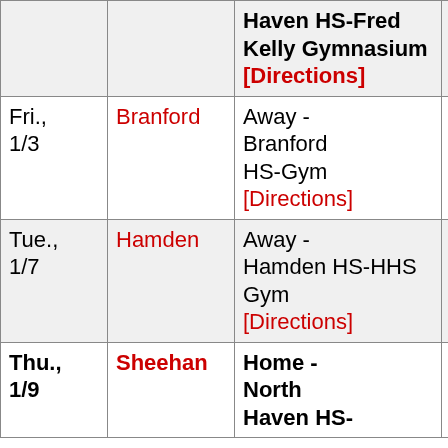| Date | Opponent | Location | Result |
| --- | --- | --- | --- |
|  |  | Haven HS-Fred Kelly Gymnasium [Directions] |  |
| Fri., 1/3 | Branford | Away - Branford HS-Gym [Directions] | W 61-6… |
| Tue., 1/7 | Hamden | Away - Hamden HS-HHS Gym [Directions] | L 69-7… |
| Thu., 1/9 | Sheehan | Home - North Haven HS- | L 61-7… |